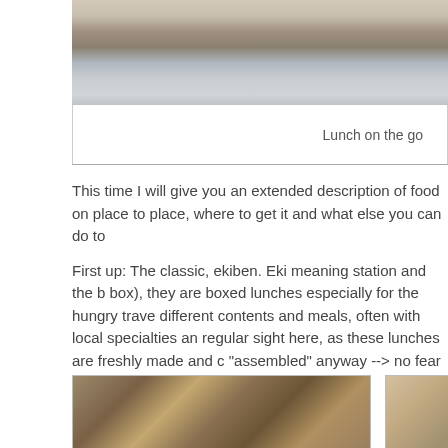[Figure (photo): Top cropped photo showing wooden surface and blurred background, partial view]
Lunch on the go
This time I will give you an extended description of food on place to place, where to get it and what else you can do to
First up: The classic, ekiben. Eki meaning station and the b box), they are boxed lunches especially for the hungry trave different contents and meals, often with local specialties an regular sight here, as these lunches are freshly made and c "assembled" anyway --> no fear of getting bad fish.
[Figure (photo): Photo of a wooden ekiben box held in someone's hands on their lap]
[Figure (photo): Partial photo showing another ekiben or food item, cropped on right edge]